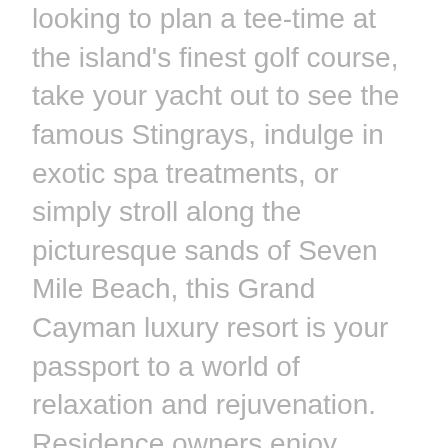looking to plan a tee-time at the island's finest golf course, take your yacht out to see the famous Stingrays, indulge in exotic spa treatments, or simply stroll along the picturesque sands of Seven Mile Beach, this Grand Cayman luxury resort is your passport to a world of relaxation and rejuvenation. Residence owners enjoy privileged access to all of the Resorts amenities & services provided by the 'Legendary Ritz-Carlton Ladies & Gentlemen' along with Golf Course Membership, award winning dining venues, La Prairie Spa, two resort pools, Jean Michel's Cousteau's Ambassadors of the Environment Kids Club & Water Park, tennis centre, luxury retail outlets, private owner's Rooftop Sunset Terrace and the Ritz-Carlton Residence owners privileges unrivalled elsewhere including private concierge, valet & bellhop services. For